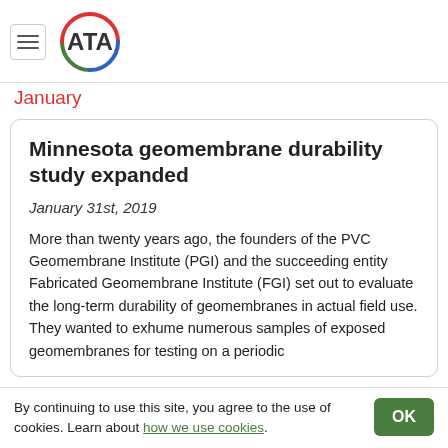ATA
January
Minnesota geomembrane durability study expanded
January 31st, 2019
More than twenty years ago, the founders of the PVC Geomembrane Institute (PGI) and the succeeding entity Fabricated Geomembrane Institute (FGI) set out to evaluate the long-term durability of geomembranes in actual field use. They wanted to exhume numerous samples of exposed geomembranes for testing on a periodic
By continuing to use this site, you agree to the use of cookies. Learn about how we use cookies.